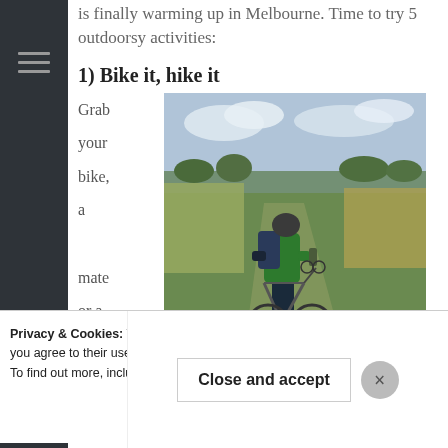is finally warming up in Melbourne. Time to try 5 outdoorsy activities:
1) Bike it, hike it
Grab your bike, a mate or a date
[Figure (photo): Person riding a bicycle on a grassy trail through a wetland/marsh area, viewed from behind. Person wears green top and dark pants with a backpack. Another cyclist visible in the distance. Overcast sky with trees in background.]
Privacy & Cookies: This site uses cookies. By continuing to use this website, you agree to their use.
To find out more, including how to control cookies, see here: